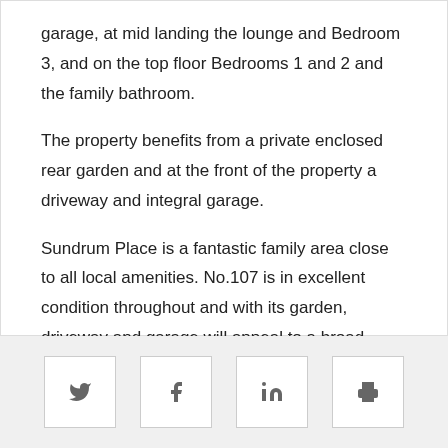garage, at mid landing the lounge and Bedroom 3, and on the top floor Bedrooms 1 and 2 and the family bathroom.
The property benefits from a private enclosed rear garden and at the front of the property a driveway and integral garage.
Sundrum Place is a fantastic family area close to all local amenities. No.107 is in excellent condition throughout and with its garden, driveway and garage will appeal to a broad range of potential purchasers.
[Figure (other): Social sharing and print icon buttons: Twitter, Facebook, LinkedIn, Print]